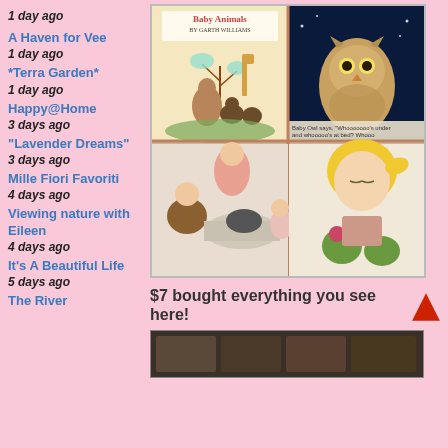1 day ago
A Haven for Vee
1 day ago
*Terra Garden*
1 day ago
Happy@Home
3 days ago
"Lavender Dreams"
3 days ago
Mille Fiori Favoriti
4 days ago
Viewing nature with Eileen
4 days ago
It's A Beautiful Life
5 days ago
The River
[Figure (photo): Collage of vintage children's book illustrations: Baby Animals by Garth Williams cover with animals (kangaroo, giraffe, bear cubs), a baby owl illustration with text, children looking at a wash tub with cat, and a girl with flowers]
$7 bought everything you see here!
[Figure (photo): Partial bottom image, appears dark/textured]